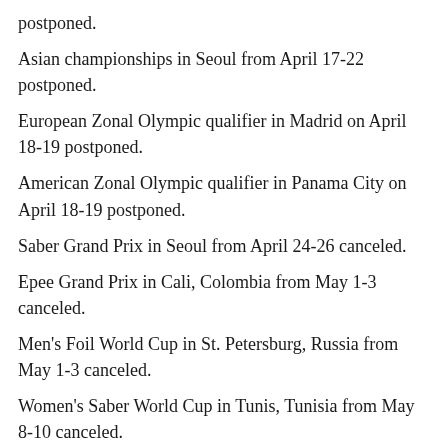postponed.
Asian championships in Seoul from April 17-22 postponed.
European Zonal Olympic qualifier in Madrid on April 18-19 postponed.
American Zonal Olympic qualifier in Panama City on April 18-19 postponed.
Saber Grand Prix in Seoul from April 24-26 canceled.
Epee Grand Prix in Cali, Colombia from May 1-3 canceled.
Men's Foil World Cup in St. Petersburg, Russia from May 1-3 canceled.
Women's Saber World Cup in Tunis, Tunisia from May 8-10 canceled.
Foil Grand Prix in Shanghai from May 15-17 canceled.
Women's Epee World Cup in Dubai, United Arab Emirates